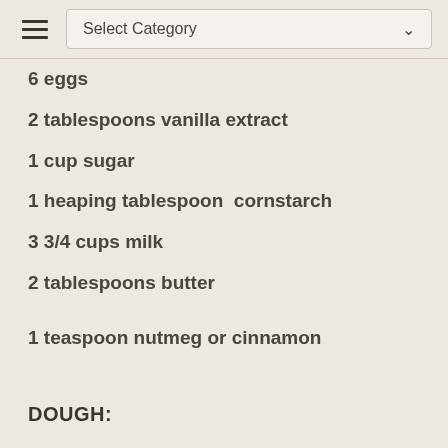Select Category
6 eggs
2 tablespoons vanilla extract
1 cup sugar
1 heaping tablespoon  cornstarch
3 3/4 cups milk
2 tablespoons butter
1 teaspoon nutmeg or cinnamon
DOUGH: